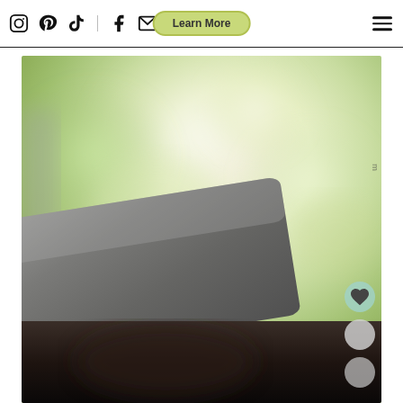Social media icons (Instagram, Pinterest, TikTok, Facebook, Email, Search), Learn More button, hamburger menu
[Figure (photo): Close-up photo of a laptop back/lid viewed from behind, with a blurred bokeh green outdoor background. The bottom portion shows a dark shadowy scene. Heart and action buttons are overlaid on the right side.]